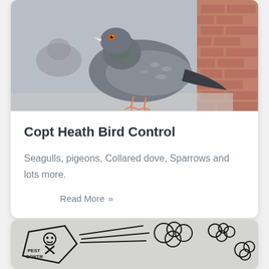[Figure (photo): Close-up photo of a grey pigeon perched against a red brick wall, with another pigeon blurred in the background]
Copt Heath Bird Control
Seagulls, pigeons, Collared dove, Sparrows and lots more.
Read More »
[Figure (illustration): Hand-drawn illustration of a pest control spray can with skull and crossbones label, spraying clouds of gas]